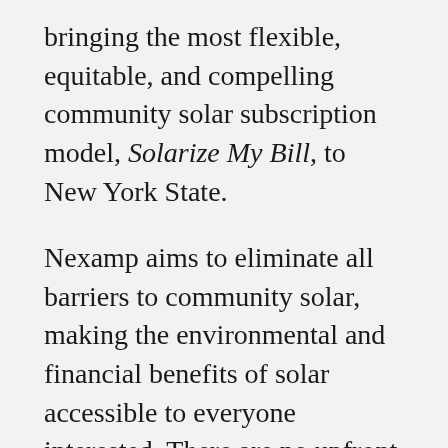bringing the most flexible, equitable, and compelling community solar subscription model, Solarize My Bill, to New York State.
Nexamp aims to eliminate all barriers to community solar, making the environmental and financial benefits of solar accessible to everyone interested. There are no upfront costs and no credit check required to enroll, and no installation on your roof or property. Under Nexamp's pay-as-you-go program, subscribers are guaranteed a 10% discount on credits to offset their